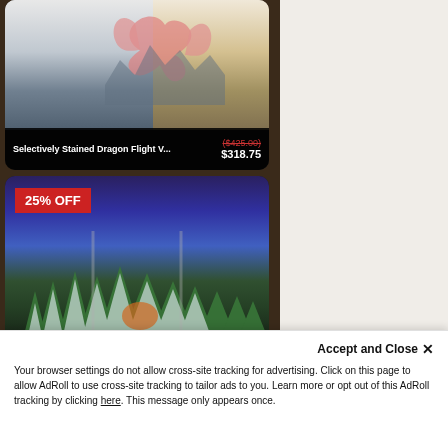[Figure (screenshot): Product card: Selectively Stained Dragon Flight V... artwork on glass panel]
Selectively Stained Dragon Flight V...
($425.00) $318.75
[Figure (screenshot): 25% OFF badge on product card: Mosaic Forest Valhalla Screen glass art panel]
Mosaic Forest Valhalla Screen
($492.00) $369.00
[Figure (screenshot): 25% OFF badge on third product card showing wooden and teal colored items]
Accept and Close ✕
Your browser settings do not allow cross-site tracking for advertising. Click on this page to allow AdRoll to use cross-site tracking to tailor ads to you. Learn more or opt out of this AdRoll tracking by clicking here. This message only appears once.